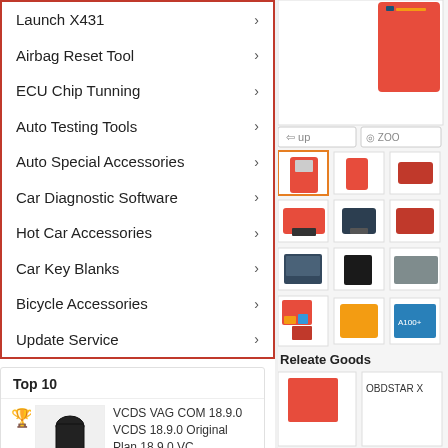Launch X431 >
Airbag Reset Tool >
ECU Chip Tunning >
Auto Testing Tools >
Auto Special Accessories >
Car Diagnostic Software >
Hot Car Accessories >
Car Key Blanks >
Bicycle Accessories >
Update Service >
Top 10
VCDS VAG COM 18.9.0 VCDS 18.9.0 Original Plan 18.9.0 VC...
USD$48.99
VCDS VAG COM 17.8.0 VCDS 17.8.0 HEX+CAN USB
[Figure (photo): Product images grid showing car diagnostic tools and accessories]
Releate Goods
OBDSTAR X...